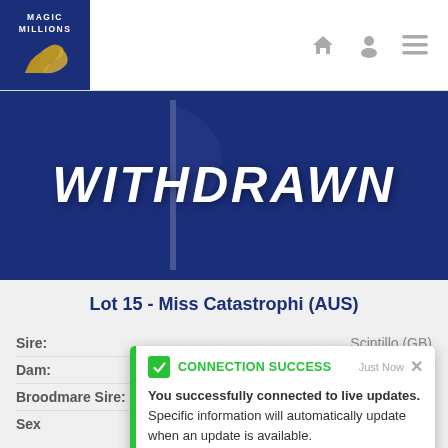[Figure (screenshot): Magic Millions logo: white text on dark blue background with golden horse silhouette]
[Figure (screenshot): Withdrawn banner: blue background with large white italic bold text 'WITHDRAWN' and a flag overlay]
Lot 15 - Miss Catastrophi (AUS)
| Field | Value |
| --- | --- |
| Sire: | Scintillo (GB) |
| Dam: | Making Moments (AUS) |
| Broodmare Sire: | War Pass (USA) |
| Sex | Mare |
[Figure (screenshot): Toast notification: green CONNECTION SUCCESS with message 'You successfully connected to live updates. Specific information will automatically update when an update is available.']